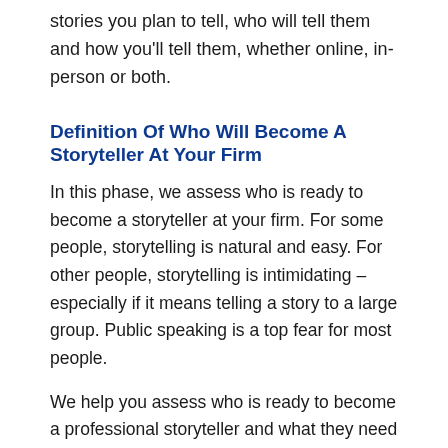stories you plan to tell, who will tell them and how you'll tell them, whether online, in-person or both.
Definition Of Who Will Become A Storyteller At Your Firm
In this phase, we assess who is ready to become a storyteller at your firm. For some people, storytelling is natural and easy. For other people, storytelling is intimidating – especially if it means telling a story to a large group. Public speaking is a top fear for most people.
We help you assess who is ready to become a professional storyteller and what they need to do to be most effective in that role. We often use cameras and recording to help people understand where they are today and what they need to work on